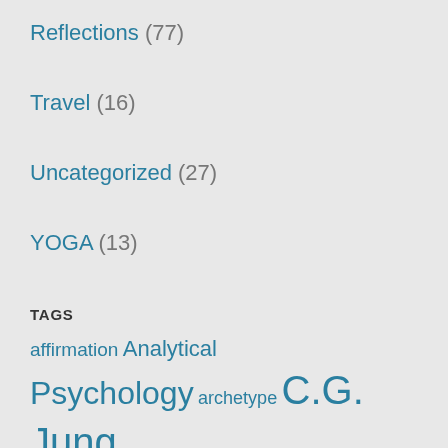Reflections (77)
Travel (16)
Uncategorized (27)
YOGA (13)
TAGS
affirmation Analytical Psychology archetype C.G. Jung collective unconscious creative writing Daily